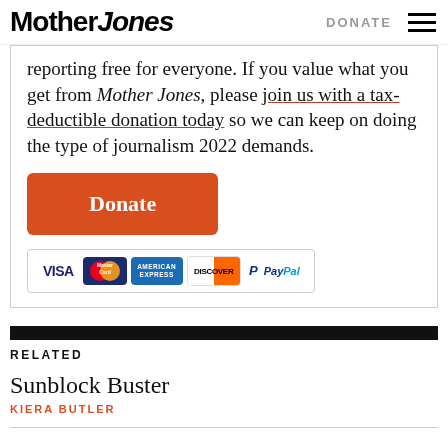Mother Jones | DONATE
reporting free for everyone. If you value what you get from Mother Jones, please join us with a tax-deductible donation today so we can keep on doing the type of journalism 2022 demands.
[Figure (other): Orange Donate button with payment icons: VISA, MasterCard, American Express, Discover, PayPal]
RELATED
Sunblock Buster
KIERA BUTLER